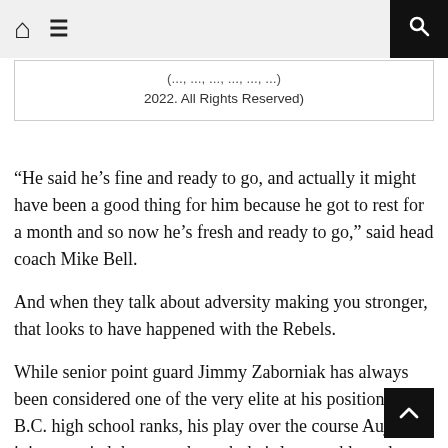Home | Menu | Search
(..., ..., ..., ..., ..., ...) 2022. All Rights Reserved)
“He said he’s fine and ready to go, and actually it might have been a good thing for him because he got to rest for a month and so now he’s fresh and ready to go,” said head coach Mike Bell.
And when they talk about adversity making you stronger, that looks to have happened with the Rebels.
While senior point guard Jimmy Zaborniak has always been considered one of the very elite at his position in the B.C. high school ranks, his play over the course Aujla’s injury carried the team through their lowest ebb, and over that span he pushed his scoring ave from 19 to 29 points per game.